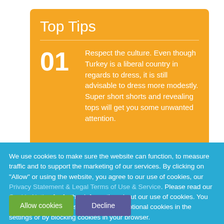Top Tips
01 Respect the culture. Even though Turkey is a liberal country in regards to dress, it is still advisable to dress more modestly. Super short shorts and revealing tops will get you some unwanted attention.
We use cookies to make sure the website can function, to measure traffic and to support the marketing of our services. By clicking on "Allow" or using the website, you agree to our use of cookies, our Privacy Statement & Legal Terms of Use & Service. Please read our Cookie Notice for further information about our use of cookies. You may change your consent by rejecting optional cookies in the settings or by blocking cookies in your browser.
Allow cookies   Decline